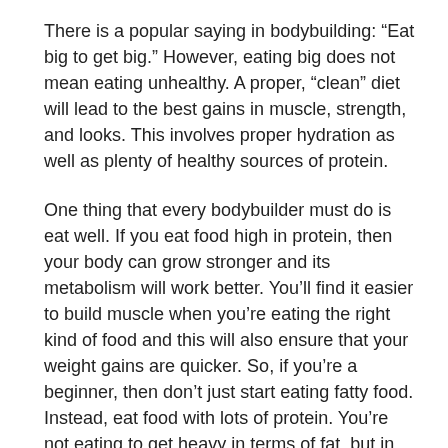There is a popular saying in bodybuilding: “Eat big to get big.” However, eating big does not mean eating unhealthy. A proper, “clean” diet will lead to the best gains in muscle, strength, and looks. This involves proper hydration as well as plenty of healthy sources of protein.
One thing that every bodybuilder must do is eat well. If you eat food high in protein, then your body can grow stronger and its metabolism will work better. You’ll find it easier to build muscle when you’re eating the right kind of food and this will also ensure that your weight gains are quicker. So, if you’re a beginner, then don’t just start eating fatty food. Instead, eat food with lots of protein. You’re not eating to get heavy in terms of fat, but in terms of your muscle.
The two most important food types that a bodybuilder eats are protein and carbohydrates. Protein functions as a source